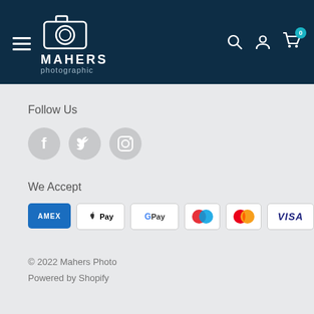[Figure (logo): Mahers Photographic logo: camera icon outline in white with text MAHERS photographic on dark navy background, with hamburger menu, search, account, and cart icons]
Follow Us
[Figure (illustration): Three circular social media icons in light grey: Facebook (f), Twitter (bird), Instagram (camera)]
We Accept
[Figure (illustration): Six payment method badges: AMEX (blue), Apple Pay, Google Pay, Maestro, Mastercard, VISA]
© 2022 Mahers Photo
Powered by Shopify